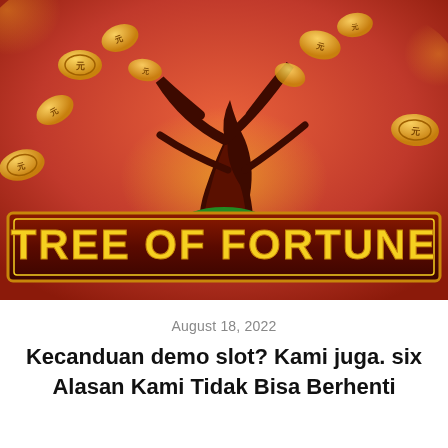[Figure (illustration): Tree of Fortune slot game promotional image showing a stylized money tree with golden coins flying around it on a red and gold background, with a banner at the bottom reading 'TREE OF FORTUNE' in yellow letters on a dark red/maroon rectangular background with gold border.]
August 18, 2022
Kecanduan demo slot? Kami juga. six Alasan Kami Tidak Bisa Berhenti